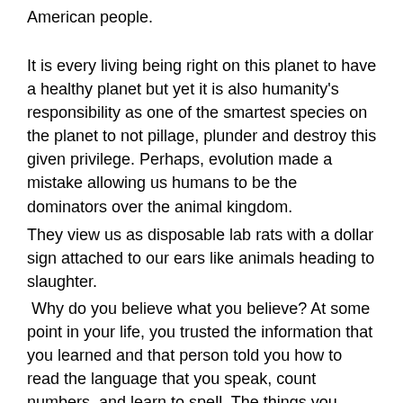American people.
It is every living being right on this planet to have a healthy planet but yet it is also humanity's responsibility as one of the smartest species on the planet to not pillage, plunder and destroy this given privilege. Perhaps, evolution made a mistake allowing us humans to be the dominators over the animal kingdom.
They view us as disposable lab rats with a dollar sign attached to our ears like animals heading to slaughter.
Why do you believe what you believe? At some point in your life, you trusted the information that you learned and that person told you how to read the language that you speak, count numbers, and learn to spell. The things you learned help to form our perception of what we believed to